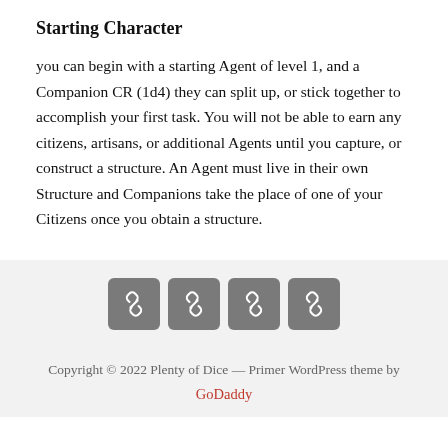Starting Character
you can begin with a starting Agent of level 1, and a Companion CR (1d4) they can split up, or stick together to accomplish your first task. You will not be able to earn any citizens, artisans, or additional Agents until you capture, or construct a structure. An Agent must live in their own Structure and Companions take the place of one of your Citizens once you obtain a structure.
[Figure (other): Four dark gray rounded square icon buttons each containing a chain link icon]
Copyright © 2022 Plenty of Dice — Primer WordPress theme by GoDaddy